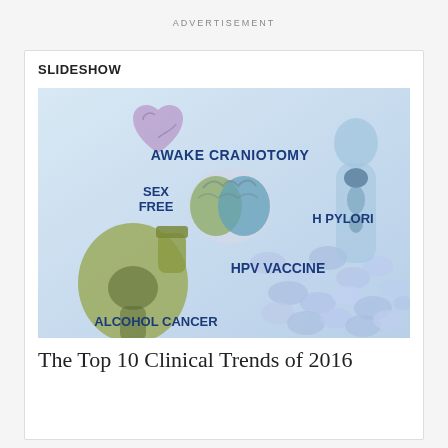ADVERTISEMENT
SLIDESHOW
[Figure (illustration): Medical illustration slideshow image showing labeled anatomical topics: Awake Craniotomy (brain illustration), Sex Free (heart illustration), H Pylori (human body silhouette with digestive system), HPV Vaccine (cell/bubble pattern), Alcohol Cancer (stomach/bottle illustration with human shadow). Text labels in bold dark blue.]
The Top 10 Clinical Trends of 2016